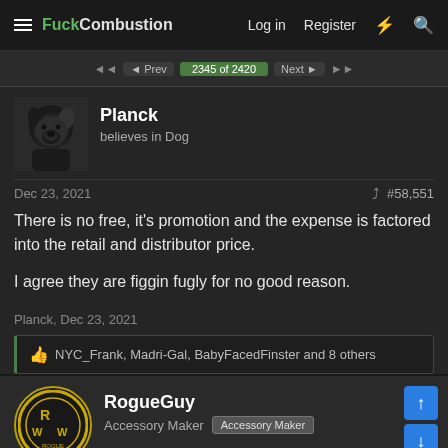FuckCombustion — Log in   Register
◄◄   ◄ Prev   2345 of 2420   Next ►   ►►
Planck
believes in Dog
Dec 23, 2021   #58,551
There is no free, it's promotion and the expense is factored into the retail and distributor price.

I agree they are figgin fugly for no good reason.
Planck, Dec 23, 2021
👍 NYC_Frank, Madri-Gal, BabyFacedFinster and 8 others
RogueGuy
Accessory Maker   Accessory Maker